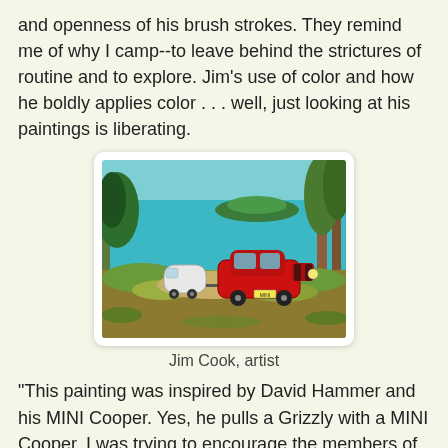and openness of his brush strokes. They remind me of why I camp--to leave behind the strictures of routine and to explore. Jim's use of color and how he boldly applies color . . . well, just looking at his paintings is liberating.
[Figure (photo): A painting by Jim Cook showing a red MINI Cooper pulling a small white Grizzly trailer, parked in a scenic campsite with trees, green foliage, turquoise water, and a small island in the background.]
Jim Cook, artist
"This painting was inspired by David Hammer and his MINI Cooper. Yes, he pulls a Grizzly with a MINI Cooper. I was trying to encourage the members of our Facebook site to post more pictures in 2017 in order to increase interest and